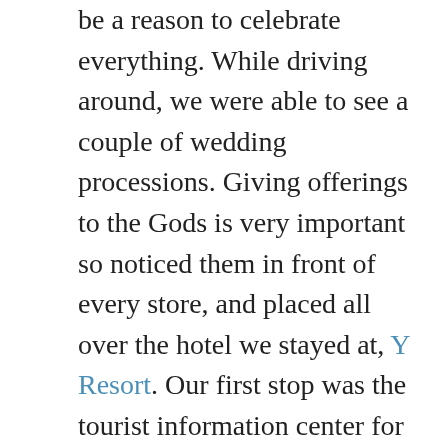be a reason to celebrate everything. While driving around, we were able to see a couple of wedding processions. Giving offerings to the Gods is very important so noticed them in front of every store, and placed all over the hotel we stayed at, Y Resort. Our first stop was the tourist information center for the latest schedule of dances. Across from the center is the market where you can wander for souvenirs and art.
Since we didn't have a motorbike, we decided to hire a driver for a tour of the sites near Ubud – watch a Barong dance, view Mount Batur and lake while feasting on a lunch buffet, woodcarving center, Tirta Empul water temple, and rice terraces. Learning to cook Indonesian cuisine at the Paon Cooking Class was one of our favorite activities. From walking in Sacred Monkey Forest to learning to cook, we learned there are plenty of things to do in Ubud.